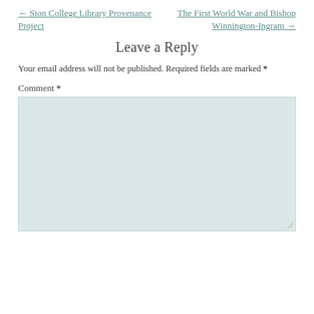← Sion College Library Provenance Project
The First World War and Bishop Winnington-Ingram →
Leave a Reply
Your email address will not be published. Required fields are marked *
Comment *